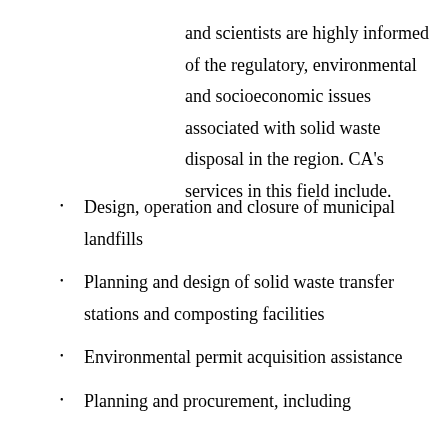and scientists are highly informed of the regulatory, environmental and socioeconomic issues associated with solid waste disposal in the region. CA's services in this field include.
Design, operation and closure of municipal landfills
Planning and design of solid waste transfer stations and composting facilities
Environmental permit acquisition assistance
Planning and procurement, including